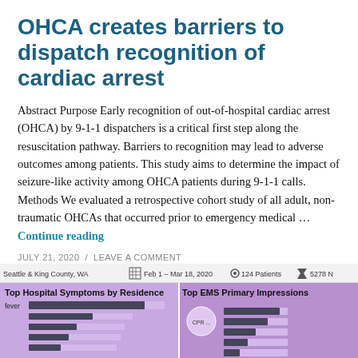OHCA creates barriers to dispatch recognition of cardiac arrest
Abstract Purpose Early recognition of out-of-hospital cardiac arrest (OHCA) by 9-1-1 dispatchers is a critical first step along the resuscitation pathway. Barriers to recognition may lead to adverse outcomes among patients. This study aims to determine the impact of seizure-like activity among OHCA patients during 9-1-1 calls. Methods We evaluated a retrospective cohort study of all adult, non-traumatic OHCAs that occurred prior to emergency medical … Continue reading
JULY 21, 2020 / LEAVE A COMMENT
[Figure (infographic): Partial infographic strip at bottom of page showing: top bar with 'Seattle & King County, WA', grid icon, 'Feb 1 – Mar 18, 2020', gear icon, '124 Patients', arrow icon, '5278 N'. Below: two sections – left panel 'Top Hospital Symptoms by Residence' with a bar chart row labeled 'fever', right panel 'Top EMS Primary Impressions'.]